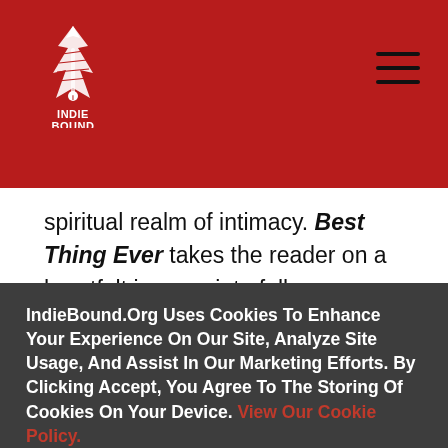[Figure (logo): IndieBound logo — stylized feather/pen nib icon in white on dark red background, with text INDIE BOUND below in white]
spiritual realm of intimacy. Best Thing Ever takes the reader on a heartfelt journey into fully accepting oneself and embracing others. It teaches the art of unconditional love and shows how to:
– liberate yourself from the traumas of the past
IndieBound.Org Uses Cookies To Enhance Your Experience On Our Site, Analyze Site Usage, And Assist In Our Marketing Efforts. By Clicking Accept, You Agree To The Storing Of Cookies On Your Device. View Our Cookie Policy.
Give me more info
Accept all Cookies